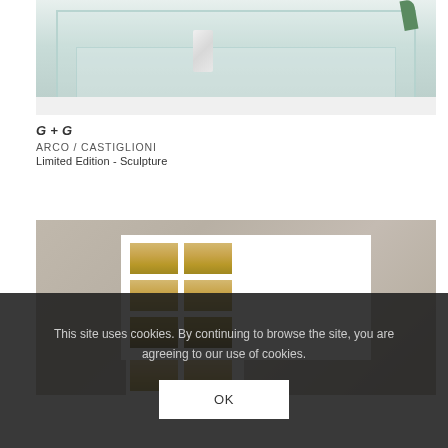[Figure (photo): Photo of a glass display box/sculpture on a white shelf, with a marble-like white object inside and a green plant visible at top right]
G + G
ARCO / CASTIGLIONI
Limited Edition - Sculpture
[Figure (photo): Photo of a framed grid artwork on a textured grey wall, showing two panels each with a 2x3 grid of tiles graduating from golden/tan at top to dark brown at bottom]
This site uses cookies. By continuing to browse the site, you are agreeing to our use of cookies.